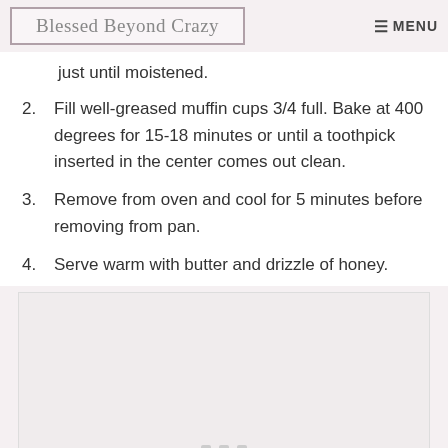Blessed Beyond Crazy  MENU
just until moistened.
2. Fill well-greased muffin cups 3/4 full. Bake at 400 degrees for 15-18 minutes or until a toothpick inserted in the center comes out clean.
3. Remove from oven and cool for 5 minutes before removing from pan.
4. Serve warm with butter and drizzle of honey.
[Figure (other): Advertisement or image placeholder with three dots at the bottom center]